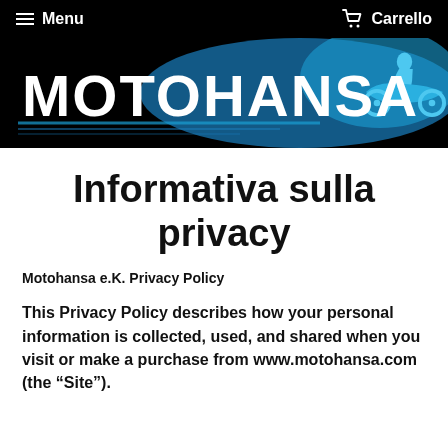Menu   Carrello
[Figure (logo): Motohansa logo banner with blue motorcycle graphic on black background]
Informativa sulla privacy
Motohansa e.K. Privacy Policy
This Privacy Policy describes how your personal information is collected, used, and shared when you visit or make a purchase from www.motohansa.com (the “Site”).